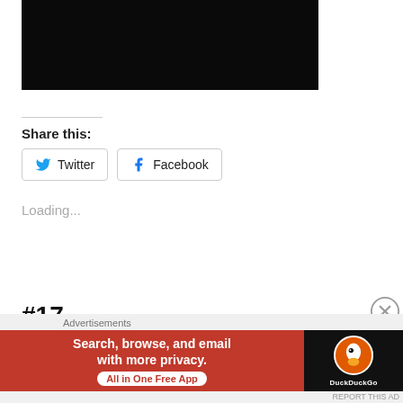[Figure (photo): Black rectangle representing a video or image placeholder at top of page]
Share this:
[Figure (other): Twitter and Facebook share buttons with icons]
Loading...
#17 —
[Figure (other): Close/dismiss button (X in circle) on right side]
Advertisements
[Figure (other): DuckDuckGo advertisement banner: Search, browse, and email with more privacy. All in One Free App]